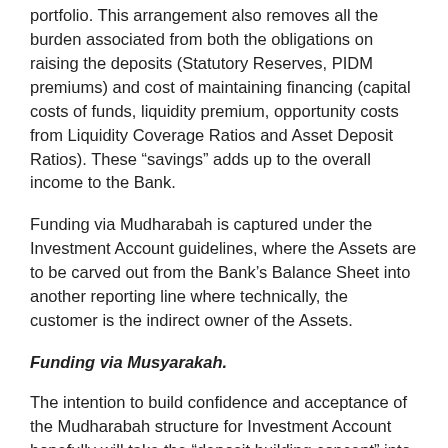portfolio. This arrangement also removes all the burden associated from both the obligations on raising the deposits (Statutory Reserves, PIDM premiums) and cost of maintaining financing (capital costs of funds, liquidity premium, opportunity costs from Liquidity Coverage Ratios and Asset Deposit Ratios). These “savings” adds up to the overall income to the Bank.
Funding via Mudharabah is captured under the Investment Account guidelines, where the Assets are to be carved out from the Bank’s Balance Sheet into another reporting line where technically, the customer is the indirect owner of the Assets.
Funding via Musyarakah.
The intention to build confidence and acceptance of the Mudharabah structure for Investment Account hopefully will take the “deposit building concept” into the next stage i.e. Musyarakah structure where the role of “deposits” is transformed into “equity”. What it really means is that,